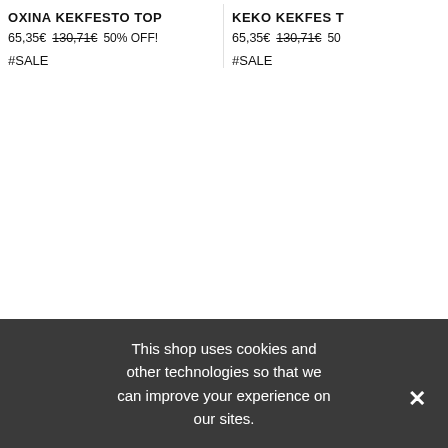OXINA KEKFESTO TOP
65,35€  130,71€  50% OFF!
#SALE
KEKO KEKFES T...
65,35€  130,71€  50%...
#SALE
This shop uses cookies and other technologies so that we can improve your experience on our sites.